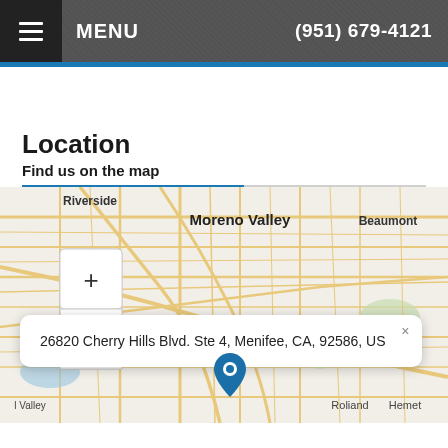MENU  (951) 679-4121
Location
Find us on the map
[Figure (map): Interactive street map showing Riverside, Moreno Valley, Beaumont, Lakeview, Hemet area with zoom controls. A blue map pin marks the location near Roliand/Menifee area.]
26820 Cherry Hills Blvd. Ste 4, Menifee, CA, 92586, US